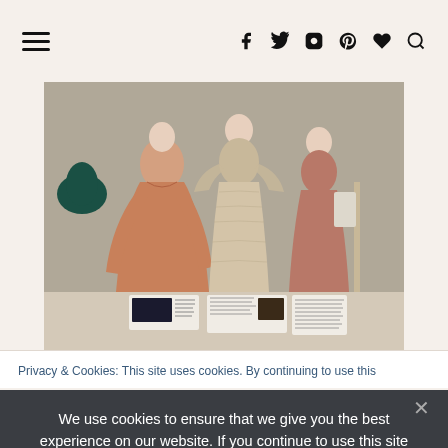Navigation header with hamburger menu and social icons (f, t, instagram, pinterest, heart, search)
[Figure (photo): Museum display of three mannequins wearing vintage/period dresses in shades of peach, blush pink, and rose. The center mannequin wears a beige lace dress with short cape sleeves. The left mannequin wears a long peach gown with bell sleeves. The right mannequin wears a dusty rose/mauve sleeveless gown. Small informational placards are displayed in front of each mannequin. A dark teal hat is visible on the left side.]
Privacy & Cookies: This site uses cookies. By continuing to use this
We use cookies to ensure that we give you the best experience on our website. If you continue to use this site we will assume that you are happy with it.
Ok